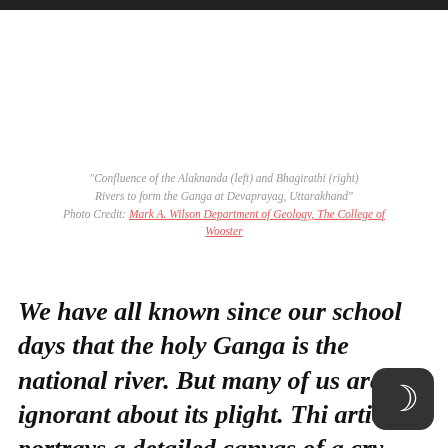"Confluence of the Alaknanda (left) and Bhagirathi (right) Rivers to form the Ganga at Devaprayag, Uttarakhand" Photo Credit: Mark A. Wilson Department of Geology, The College of Wooster
We have all known since our school days that the holy Ganga is the national river. But many of us are still ignorant about its plight. This article portrays a detailed canvas of a crying river in context to its pollution and future